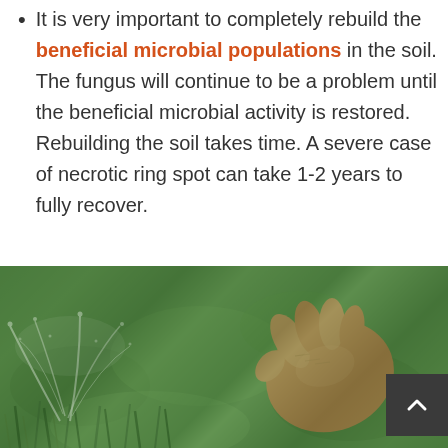It is very important to completely rebuild the beneficial microbial populations in the soil. The fungus will continue to be a problem until the beneficial microbial activity is restored. Rebuilding the soil takes time. A severe case of necrotic ring spot can take 1-2 years to fully recover.
[Figure (photo): A hand spraying water or a liquid substance onto green grass lawn, viewed close-up from ground level.]